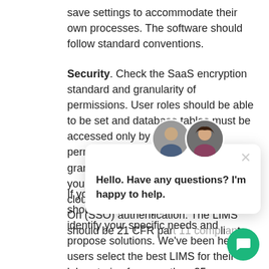save settings to accommodate their own processes. The software should follow standard conventions.
Security. Check the SaaS encryption standard and granularity of permissions. User roles should be able to be set and database tables must be accessed only by those with permissions. Auditing should be granular and fully supported. Whether your LIMS is on-premises or in the cloud, users can leverage Single Sign On (SSO) authentication. The LIMS should be 21 CFR par[t 11 comp]lian[t].
If you are looking for a[…] boxes, you should def[…] Our professionals can identify your specific needs and propose solutions. We've been helping users select the best LIMS for their laboratories for more than 25 years.
[Figure (screenshot): Chat widget popup with two avatars (a man and a woman), a close button (×), and the message 'Hello. Have any questions? I'm happy to help.' A green circular chat button is in the bottom-right corner.]